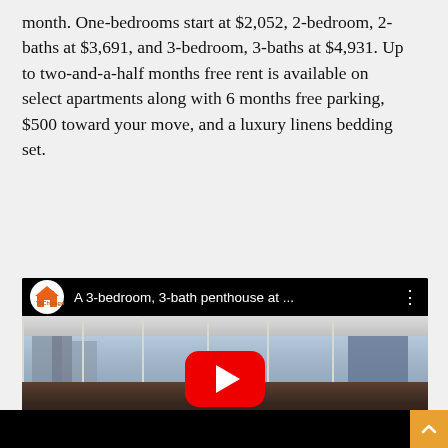month. One-bedrooms start at $2,052, 2-bedroom, 2-baths at $3,691, and 3-bedroom, 3-baths at $4,931. Up to two-and-a-half months free rent is available on select apartments along with 6 months free parking, $500 toward your move, and a luxury linens bedding set.
[Figure (screenshot): YouTube video thumbnail showing a 3-bedroom 3-bath penthouse interior with floor-to-ceiling windows overlooking Chicago skyline. Video title: 'A 3-bedroom, 3-bath penthouse at ...' with YoChicago logo and red YouTube play button overlay.]